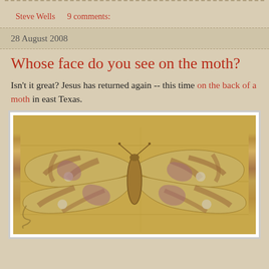Steve Wells    9 comments:
28 August 2008
Whose face do you see on the moth?
Isn't it great? Jesus has returned again -- this time on the back of a moth in east Texas.
[Figure (photo): A large moth with yellow and purple-brown patterned wings spread flat on a wooden surface, viewed from above.]